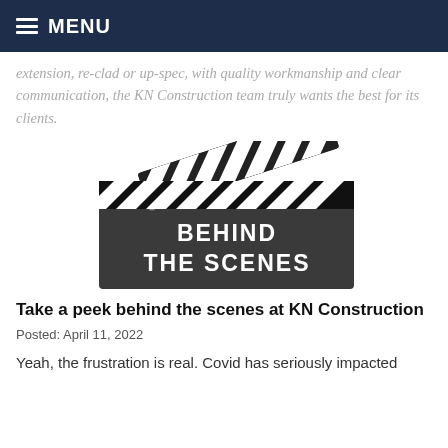MENU
extension, re-clad or up-spec, with quality workmanship and clear communication, the KN Construction team truly wants the best for its clients.
[Figure (illustration): A movie clapperboard with black and white diagonal stripes on the top clapper, and the main board in dark gray reading 'BEHIND THE SCENES' in bold white text.]
Take a peek behind the scenes at KN Construction
Posted: April 11, 2022
Yeah, the frustration is real. Covid has seriously impacted